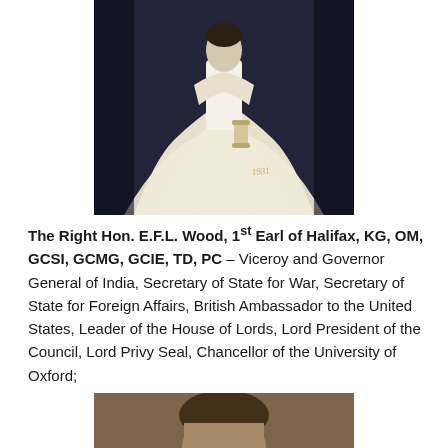[Figure (photo): Black and white formal portrait photograph of E.F.L. Wood in ceremonial robes, holding a scroll, with handwritten annotation '1931' visible]
The Right Hon. E.F.L. Wood, 1st Earl of Halifax, KG, OM, GCSI, GCMG, GCIE, TD, PC – Viceroy and Governor General of India, Secretary of State for War, Secretary of State for Foreign Affairs, British Ambassador to the United States, Leader of the House of Lords, Lord President of the Council, Lord Privy Seal, Chancellor of the University of Oxford;
[Figure (photo): Color portrait photograph of a person, partially visible at bottom of page]